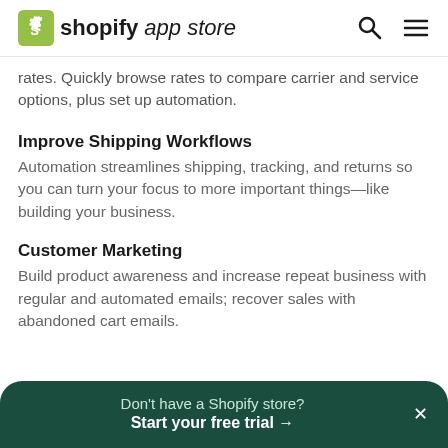shopify app store
rates. Quickly browse rates to compare carrier and service options, plus set up automation.
Improve Shipping Workflows
Automation streamlines shipping, tracking, and returns so you can turn your focus to more important things—like building your business.
Customer Marketing
Build product awareness and increase repeat business with regular and automated emails; recover sales with abandoned cart emails.
Don't have a Shopify store? Start your free trial →